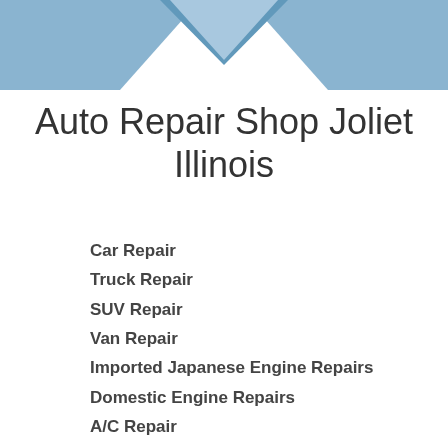[Figure (illustration): Decorative blue geometric chevron/arrow shapes at the top of the page forming a header banner]
Auto Repair Shop Joliet Illinois
Car Repair
Truck Repair
SUV Repair
Van Repair
Imported Japanese Engine Repairs
Domestic Engine Repairs
A/C Repair
Heating & Air Conditioning Service